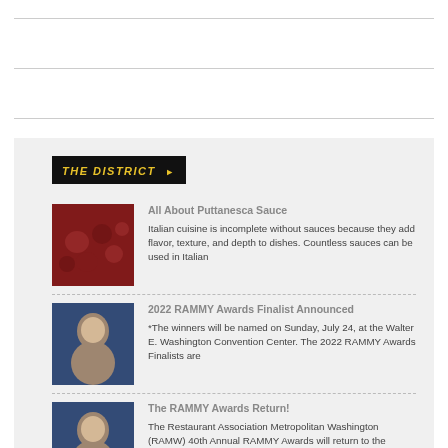[Figure (photo): Food photo showing puttanesca sauce with tomatoes]
THE DISTRICT ▶
All About Puttanesca Sauce
Italian cuisine is incomplete without sauces because they add flavor, texture, and depth to dishes. Countless sauces can be used in Italian
[Figure (photo): Photo of a person]
2022 RAMMY Awards Finalist Announced
*The winners will be named on Sunday, July 24, at the Walter E. Washington Convention Center. The 2022 RAMMY Awards Finalists are
[Figure (photo): Photo of a person]
The RAMMY Awards Return!
The Restaurant Association Metropolitan Washington (RAMW) 40th Annual RAMMY Awards will return to the Walter E. Washington